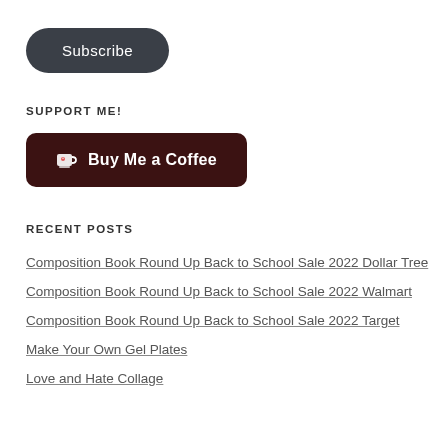[Figure (other): Subscribe button — dark rounded pill shape with white text 'Subscribe']
SUPPORT ME!
[Figure (other): Buy Me a Coffee button — dark brown rounded rectangle with coffee cup icon and white bold text 'Buy Me a Coffee']
RECENT POSTS
Composition Book Round Up Back to School Sale 2022 Dollar Tree
Composition Book Round Up Back to School Sale 2022 Walmart
Composition Book Round Up Back to School Sale 2022 Target
Make Your Own Gel Plates
Love and Hate Collage